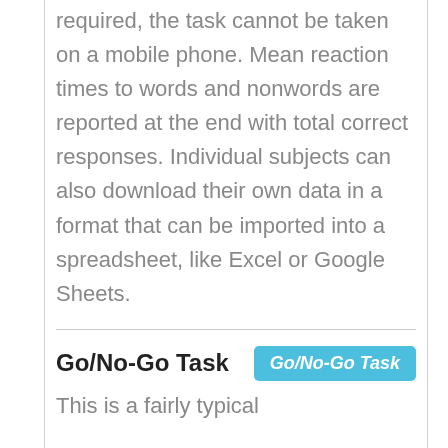required, the task cannot be taken on a mobile phone. Mean reaction times to words and nonwords are reported at the end with total correct responses. Individual subjects can also download their own data in a format that can be imported into a spreadsheet, like Excel or Google Sheets.
Go/No-Go Task
This is a fairly typical